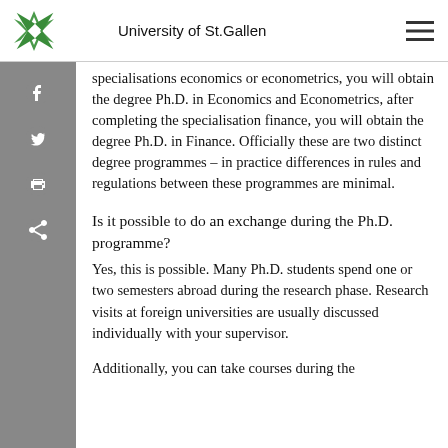University of St.Gallen
specialisations economics or econometrics, you will obtain the degree Ph.D. in Economics and Econometrics, after completing the specialisation finance, you will obtain the degree Ph.D. in Finance. Officially these are two distinct degree programmes – in practice differences in rules and regulations between these programmes are minimal.
Is it possible to do an exchange during the Ph.D. programme?
Yes, this is possible. Many Ph.D. students spend one or two semesters abroad during the research phase. Research visits at foreign universities are usually discussed individually with your supervisor.
Additionally, you can take courses during the ...